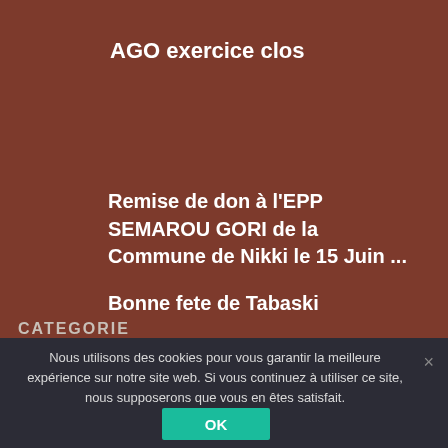AGO exercice clos
Remise de don à l'EPP SEMAROU GORI de la Commune de Nikki le 15 Juin ...
Bonne fete de Tabaski
CATEGORIE
Nous utilisons des cookies pour vous garantir la meilleure expérience sur notre site web. Si vous continuez à utiliser ce site, nous supposerons que vous en êtes satisfait.
OK